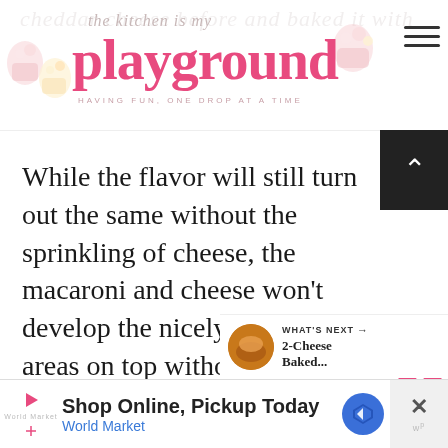the kitchen is my playground — HAVING FUN, ONE DROP AT A TIME
While the flavor will still turn out the same without the sprinkling of cheese, the macaroni and cheese won't develop the nicely browned areas on top without it.
WHAT'S NEXT → 2-Cheese Baked...
Shop Online, Pickup Today — World Market